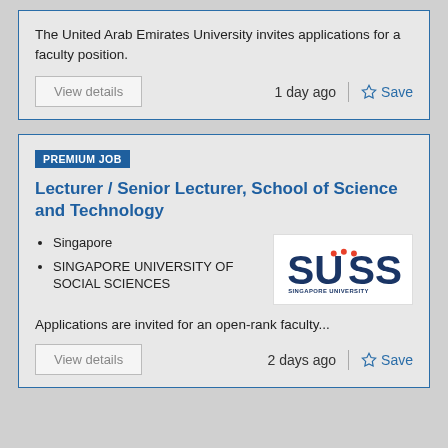The United Arab Emirates University invites applications for a faculty position.
View details
1 day ago
Save
PREMIUM JOB
Lecturer / Senior Lecturer, School of Science and Technology
Singapore
SINGAPORE UNIVERSITY OF SOCIAL SCIENCES
[Figure (logo): SUSS Singapore University of Social Sciences logo]
Applications are invited for an open-rank faculty...
View details
2 days ago
Save